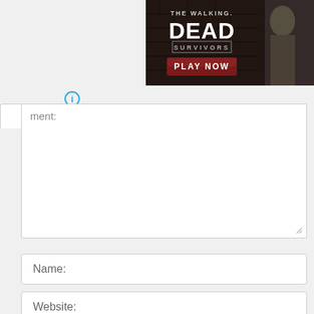[Figure (screenshot): The Walking Dead: Survivors game advertisement banner with dark brick background, character image, and red PLAY NOW button]
[Figure (screenshot): Web form with comment textarea (partially visible with label 'ment:'), name field, email field, and website field. A chevron-up (^) button and an info icon (circled i in blue) are visible.]
ment:
Name:
Email:
Website: